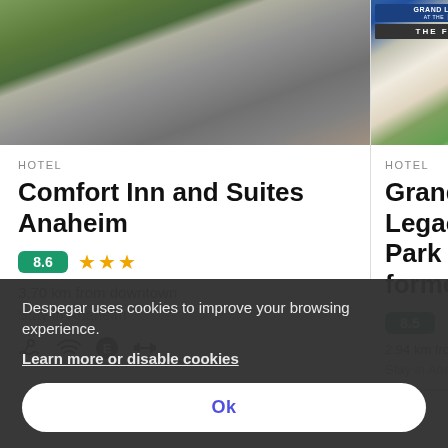[Figure (screenshot): Hotel listing screenshot showing Comfort Inn and Suites Anaheim card with exterior photo, rating 8.6, 3 stars, 3.70 km from downtown, Stay in Anaheim, amenity icons]
HOTEL
Comfort Inn and Suites Anaheim
8.6 ★★★
3.70 km from downtown
Stay in Anaheim
[Figure (screenshot): Partial hotel listing for Grand Legacy At The Park (formerly), rating 8.5, 2.94 km from downtown, Stay in Anaheim, Best price on the app]
HOTEL
Grand Legacy Park former
8.5
2.94 km from downtown
Stay in Anaheim
Best price on the ap
Despegar uses cookies to improve your browsing experience.
Learn more or disable cookies
Ok